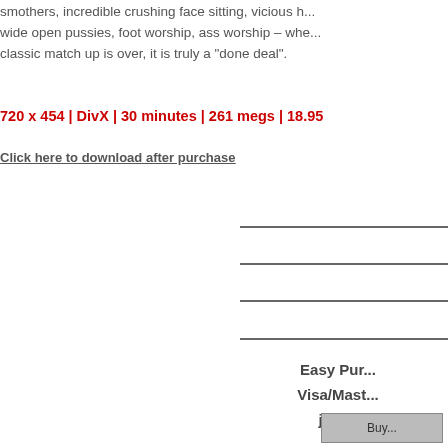smothers, incredible crushing face sitting, vicious h... wide open pussies, foot worship, ass worship – whe... classic match up is over, it is truly a "done deal".
720 x 454 | DivX | 30 minutes | 261 megs | 18.95
Click here to download after purchase
Easy Pur...
Visa/Mast...
just...